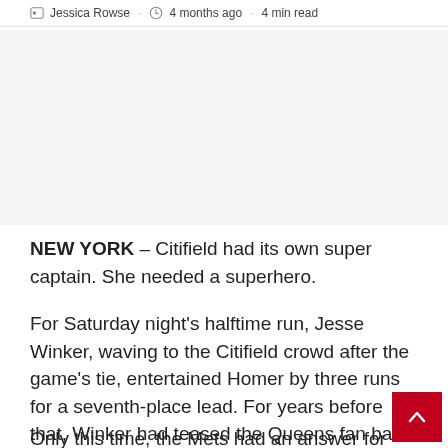Jessica Rowse · 4 months ago · 4 min read
[Figure (other): Blank/advertisement area, light gray background]
NEW YORK – Citifield had its own super captain. She needed a superhero.
For Saturday night's halftime run, Jesse Winker, waving to the Citifield crowd after the game's tie, entertained Homer by three runs for a seventh-place lead. For years before that, Winker had teased the Queens fan base and was the last person the home audience wanted to see succeed.
Only this time, the Mets had an answer for him. Patrick